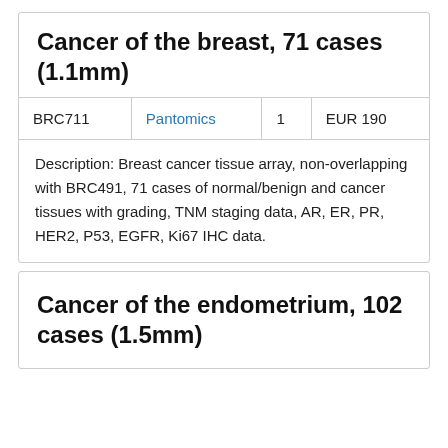Cancer of the breast, 71 cases (1.1mm)
| BRC711 | Pantomics | 1 | EUR 190 |
| --- | --- | --- | --- |
Description: Breast cancer tissue array, non-overlapping with BRC491, 71 cases of normal/benign and cancer tissues with grading, TNM staging data, AR, ER, PR, HER2, P53, EGFR, Ki67 IHC data.
Cancer of the endometrium, 102 cases (1.5mm)